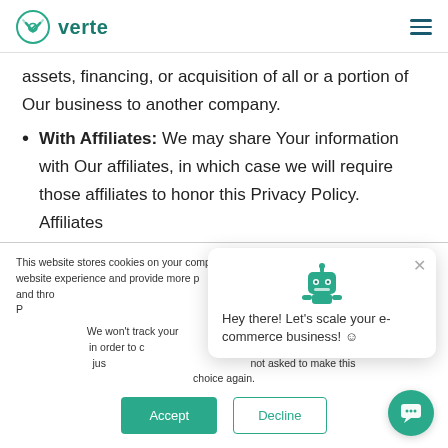verte
assets, financing, or acquisition of all or a portion of Our business to another company.
With Affiliates: We may share Your information with Our affiliates, in which case we will require those affiliates to honor this Privacy Policy. Affiliates
This website stores cookies on your computer. These cookies are used to improve your website experience and provide more personalized services to you, both on this website and through other media. To find out more about the cookies we use, see our Privacy Policy.
We won't track your information when you visit our site. But in order to comply with your preferences, we'll have to use just one tiny cookie so that you're not asked to make this choice again.
Hey there! Let's scale your e-commerce business! 😊